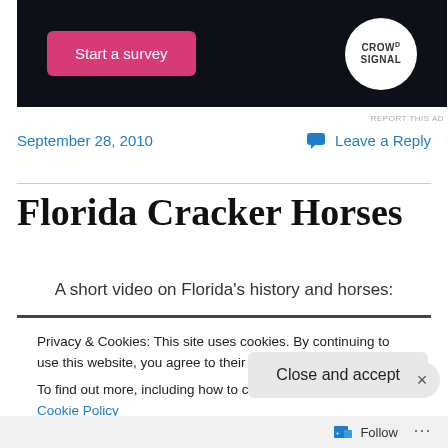[Figure (screenshot): Dark advertisement banner with pink 'Start a survey' button on the left and Crowdsignal logo (white circle) on the right against a dark navy background]
REPORT THIS AD
September 28, 2010
Leave a Reply
Florida Cracker Horses
A short video on Florida's history and horses:
Privacy & Cookies: This site uses cookies. By continuing to use this website, you agree to their use.
To find out more, including how to control cookies, see here: Cookie Policy
Close and accept
Follow ...